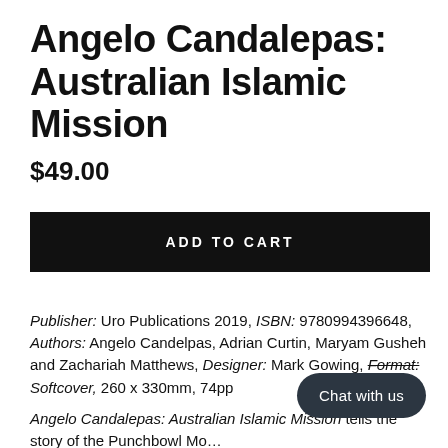Angelo Candalepas: Australian Islamic Mission
$49.00
ADD TO CART
Publisher: Uro Publications 2019, ISBN: 9780994396648, Authors: Angelo Candelpas, Adrian Curtin, Maryam Gusheh and Zachariah Matthews, Designer: Mark Gowing, Format: Softcover, 260 x 330mm, 74pp
Angelo Candalepas: Australian Islamic Mission tells the story of the Punchbowl Mosque...